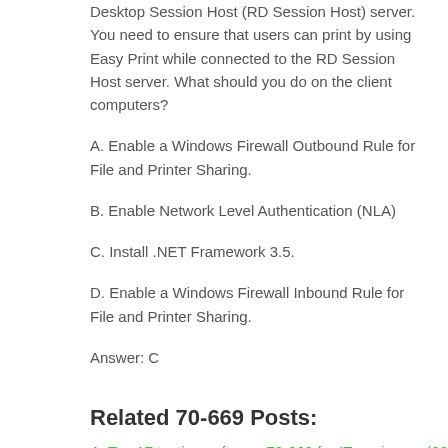Desktop Session Host (RD Session Host) server. You need to ensure that users can print by using Easy Print while connected to the RD Session Host server. What should you do on the client computers?
A. Enable a Windows Firewall Outbound Rule for File and Printer Sharing.
B. Enable Network Level Authentication (NLA)
C. Install .NET Framework 3.5.
D. Enable a Windows Firewall Inbound Rule for File and Printer Sharing.
Answer: C
Related 70-669 Posts:
Top 17 testing software 70-669 for IT engineers (86